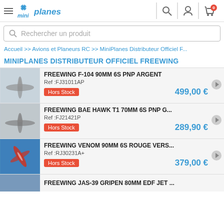MiniPlanes — navigation header with hamburger menu, logo, search icon, account icon, cart icon (0 items)
Rechercher un produit
Accueil >> Avions et Planeurs RC >> MiniPlanes Distributeur Officiel F...
MINIPLANES DISTRIBUTEUR OFFICIEL FREEWING
FREEWING F-104 90MM 6S PNP ARGENT
Ref :FJ31011AP
Hors Stock
499,00 €
FREEWING BAE HAWK T1 70MM 6S PNP G...
Ref :FJ21421P
Hors Stock
289,90 €
FREEWING VENOM 90MM 6S ROUGE VERS...
Ref :RJ30231A+
Hors Stock
379,00 €
FREEWING JAS-39 GRIPEN 80MM EDF JET ...